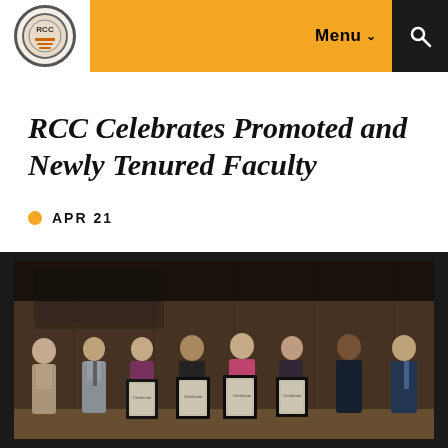Menu  🔍
RCC Celebrates Promoted and Newly Tenured Faculty
APR 21
[Figure (photo): Group photo of eight people standing in a row, four of whom are holding framed certificates/awards. The group includes men and women of varying ages dressed in business and business-casual attire. They are posing in an indoor setting with dark wood paneling in the background.]